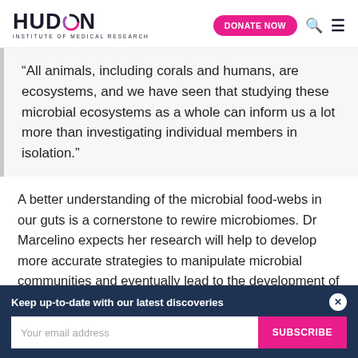HUDSON INSTITUTE OF MEDICAL RESEARCH | DONATE NOW
“All animals, including corals and humans, are ecosystems, and we have seen that studying these microbial ecosystems as a whole can inform us a lot more than investigating individual members in isolation.”
A better understanding of the microbial food-webs in our guts is a cornerstone to rewire microbiomes. Dr Marcelino expects her research will help to develop more accurate strategies to manipulate microbial communities and eventually lead to the development of new therapies.
Keep up-to-date with our latest discoveries | Your email address | SUBSCRIBE